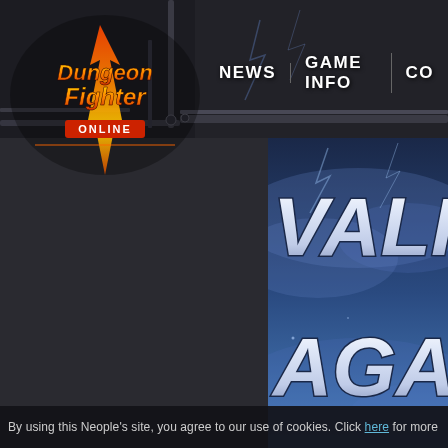[Figure (screenshot): Dungeon Fighter Online website screenshot showing navigation bar with logo, NEWS and GAME INFO menu items, and a promotional banner for 'VALHALLA AGAIN' event running MAY 17 ~ JUL (date cut off), with stormy blue-sky background. Bottom shows cookie consent bar.]
NEWS   GAME INFO   CO...
VALHA...
AGA...
MAY 17 ~ JU...
Viking...
By using this Neople's site, you agree to our use of cookies. Click here for more